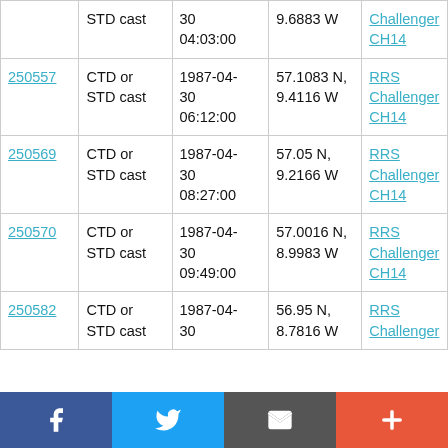| ID | Type | Date/Time | Location | Cruise |
| --- | --- | --- | --- | --- |
|  | STD cast | 30
04:03:00 | 9.6883 W | Challenger CH14 |
| 250557 | CTD or STD cast | 1987-04-30
06:12:00 | 57.1083 N, 9.4116 W | RRS Challenger CH14 |
| 250569 | CTD or STD cast | 1987-04-30
08:27:00 | 57.05 N, 9.2166 W | RRS Challenger CH14 |
| 250570 | CTD or STD cast | 1987-04-30
09:49:00 | 57.0016 N, 8.9983 W | RRS Challenger CH14 |
| 250582 | CTD or STD cast | 1987-04-30 | 56.95 N, 8.7816 W | RRS Challenger |